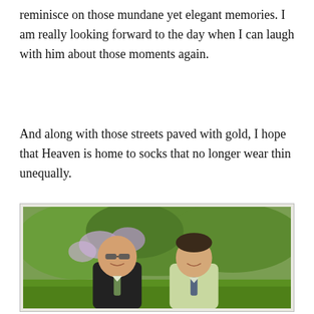reminisce on those mundane yet elegant memories. I am really looking forward to the day when I can laugh with him about those moments again.
And along with those streets paved with gold, I hope that Heaven is home to socks that no longer wear thin unequally.
[Figure (photo): Two men in dress shirts and ties smiling outdoors in front of flowering bushes and green foliage. The man on the left is bald and wearing sunglasses with a dark suit jacket. The man on the right is wearing a light green shirt with a tie.]